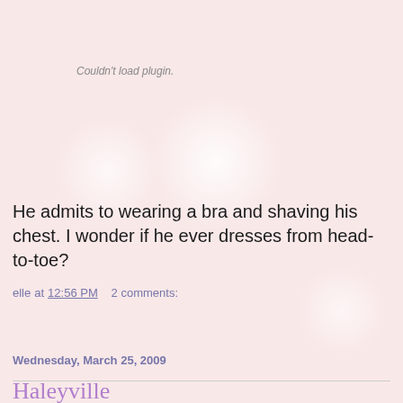Couldn't load plugin.
He admits to wearing a bra and shaving his chest. I wonder if he ever dresses from head-to-toe?
elle at 12:56 PM   2 comments:
Share
Wednesday, March 25, 2009
Haleyville